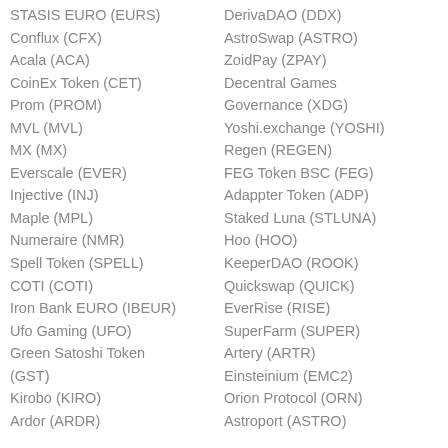STASIS EURO (EURS)
Conflux (CFX)
Acala (ACA)
CoinEx Token (CET)
Prom (PROM)
MVL (MVL)
MX (MX)
Everscale (EVER)
Injective (INJ)
Maple (MPL)
Numeraire (NMR)
Spell Token (SPELL)
COTI (COTI)
Iron Bank EURO (IBEUR)
Ufo Gaming (UFO)
Green Satoshi Token (GST)
Kirobo (KIRO)
Ardor (ARDR)
DerivaDAO (DDX)
AstroSwap (ASTRO)
ZoidPay (ZPAY)
Decentral Games Governance (XDG)
Yoshi.exchange (YOSHI)
Regen (REGEN)
FEG Token BSC (FEG)
Adappter Token (ADP)
Staked Luna (STLUNA)
Hoo (HOO)
KeeperDAO (ROOK)
Quickswap (QUICK)
EverRise (RISE)
SuperFarm (SUPER)
Artery (ARTR)
Einsteinium (EMC2)
Orion Protocol (ORN)
Astroport (ASTRO)